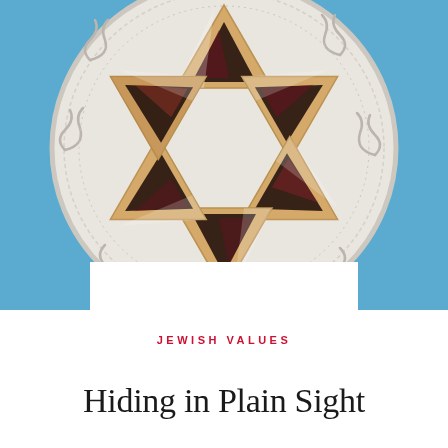[Figure (photo): Top-down view of hamantaschen cookies arranged in a Star of David pattern on a white decorative plate, against a blue background]
JEWISH VALUES
Hiding in Plain Sight